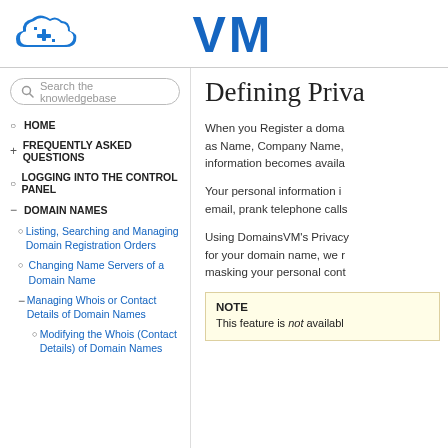VM
[Figure (logo): Blue cloud icon with a plus/settings symbol]
Search the knowledgebase
HOME
FREQUENTLY ASKED QUESTIONS
LOGGING INTO THE CONTROL PANEL
DOMAIN NAMES
Listing, Searching and Managing Domain Registration Orders
Changing Name Servers of a Domain Name
Managing Whois or Contact Details of Domain Names
Modifying the Whois (Contact Details) of Domain Names
Defining Priva
When you Register a doma as Name, Company Name, information becomes availa
Your personal information i email, prank telephone calls
Using DomainsVM's Privacy for your domain name, we r masking your personal cont
NOTE
This feature is not availabl